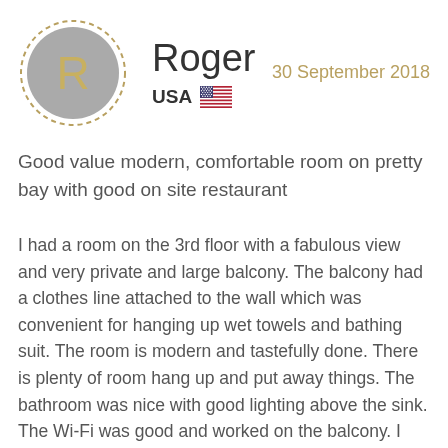[Figure (illustration): Circular avatar with grey background and gold letter R, with gold dashed border ring]
Roger
USA 🇺🇸
30 September 2018
Good value modern, comfortable room on pretty bay with good on site restaurant
I had a room on the 3rd floor with a fabulous view and very private and large balcony. The balcony had a clothes line attached to the wall which was convenient for hanging up wet towels and bathing suit. The room is modern and tastefully done. There is plenty of room hang up and put away things. The bathroom was nice with good lighting above the sink. The Wi-Fi was good and worked on the balcony. I thought the buffet breakfast was very good and including the coffee. It included eggs, bacon, sausage, fresh and canned fruit as well as Greek breakfast items. The picture on Booking.com does not reflect the full extent of the buffet breakfast. I also thought the buffet lunch and dinner was good and a great value at 12 Euro including a large glass of wine. The beach is on a little